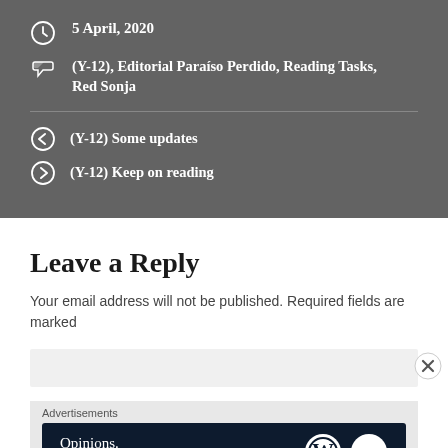5 April, 2020
(Y-12), Editorial Paraíso Perdido, Reading Tasks, Red Sonja
(Y-12) Some updates
(Y-12) Keep on reading
Leave a Reply
Your email address will not be published. Required fields are marked
Advertisements
[Figure (infographic): WordPress advertisement banner: 'Opinions. We all have them!' with WordPress and another logo on dark navy background]